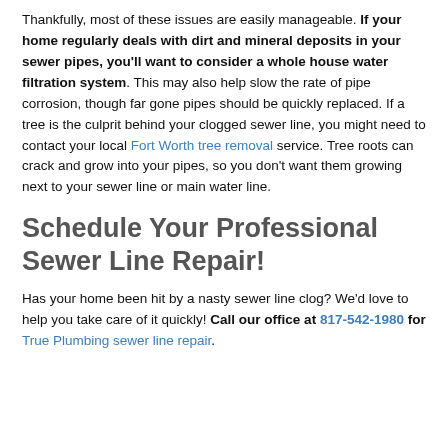Thankfully, most of these issues are easily manageable. If your home regularly deals with dirt and mineral deposits in your sewer pipes, you'll want to consider a whole house water filtration system. This may also help slow the rate of pipe corrosion, though far gone pipes should be quickly replaced. If a tree is the culprit behind your clogged sewer line, you might need to contact your local Fort Worth tree removal service. Tree roots can crack and grow into your pipes, so you don't want them growing next to your sewer line or main water line.
Schedule Your Professional Sewer Line Repair!
Has your home been hit by a nasty sewer line clog? We'd love to help you take care of it quickly! Call our office at 817-542-1980 for True Plumbing sewer line repair.